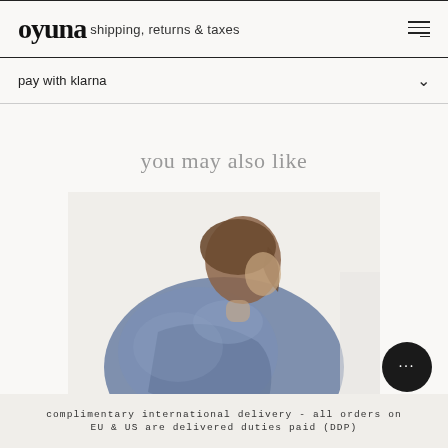oyuna  shipping, returns & taxes
pay with klarna
you may also like
[Figure (photo): Woman seen from behind/side wearing a large blue/navy cashmere wrap or shawl, with brown hair, against a light background]
complimentary international delivery - all orders on EU & US are delivered duties paid (DDP)